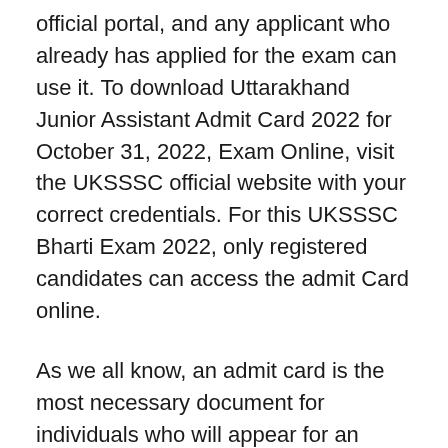official portal, and any applicant who already has applied for the exam can use it. To download Uttarakhand Junior Assistant Admit Card 2022 for October 31, 2022, Exam Online, visit the UKSSSC official website with your correct credentials. For this UKSSSC Bharti Exam 2022, only registered candidates can access the admit Card online.
As we all know, an admit card is the most necessary document for individuals who will appear for an examination. As a result, you must first obtain it from the internet before taking the exam. On the UKSSSC Kanishtha Sahayak Admit Card 2022, you will find all the instructions and information regarding the exam. You can